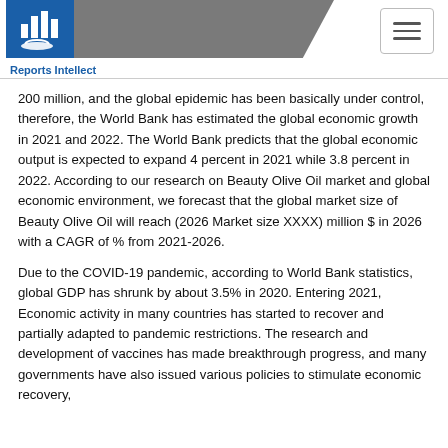Reports Intellect
200 million, and the global epidemic has been basically under control, therefore, the World Bank has estimated the global economic growth in 2021 and 2022. The World Bank predicts that the global economic output is expected to expand 4 percent in 2021 while 3.8 percent in 2022. According to our research on Beauty Olive Oil market and global economic environment, we forecast that the global market size of Beauty Olive Oil will reach (2026 Market size XXXX) million $ in 2026 with a CAGR of % from 2021-2026.
Due to the COVID-19 pandemic, according to World Bank statistics, global GDP has shrunk by about 3.5% in 2020. Entering 2021, Economic activity in many countries has started to recover and partially adapted to pandemic restrictions. The research and development of vaccines has made breakthrough progress, and many governments have also issued various policies to stimulate economic recovery,